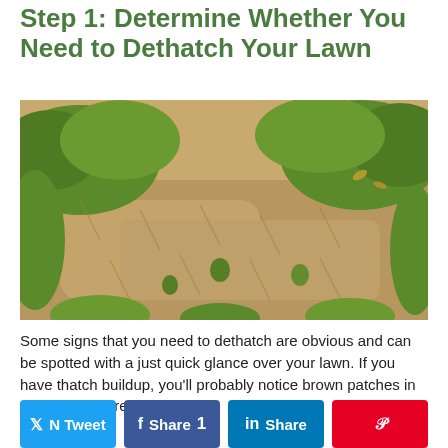Step 1: Determine Whether You Need to Dethatch Your Lawn
[Figure (photo): Photograph of a lawn showing brown dead patches mixed with green grass, indicating thatch buildup requiring dethatching.]
Some signs that you need to dethatch are obvious and can be spotted with a just quick glance over your lawn. If you have thatch buildup, you'll probably notice brown patches in the areas where the thatch
[Figure (infographic): Social sharing buttons row: Twitter (blue), Facebook (blue with count 1), LinkedIn (dark blue), Pinterest (red with pin icon)]